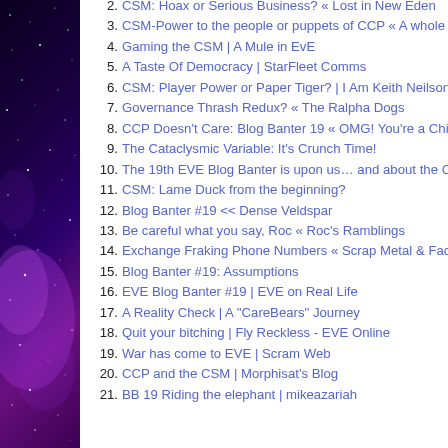2. CSM: Hoax or Serious Business? « Lost in New Eden
3. CSM-Power to the people or puppets of CCP « A whole …
4. Gaming the CSM | A Mule in EvE
5. A Taste Of Democracy | StarFleet Comms
6. CSM: Player Power or Paper Tiger? | I Am Keith Neilson…
7. Governance Thrash Redux? « The Ralpha Dogs
8. CCP Doesn't Care: Blog Banter 19 « OMG! You're a Chi…
9. The Cataclysmic Variable: It's Crunch Time!
10. The 19th EVE Blog Banter is upon us… and about the C…
11. CSM: Lame Duck from the beginning?
12. Blog Banter #19 << Dense Veldspar
13. Be careful what you say, Roc « Roc's Ramblings
14. Exchange Fraking Phone Numbers « Scrap Metal & Fac…
15. Blog Banter #19: Assumptions
16. EVE Blog Banter #19 | EVE on Real Life
17. A Reality Check | A "CareBears" Journey
18. Quit your bitching | Fly Reckless - EVE Online
19. War has come to EVE | Scram Web
20. CCP and the CSM | Morphisat's Blog
21. BB 19 Riding the elephant | mikeazariah